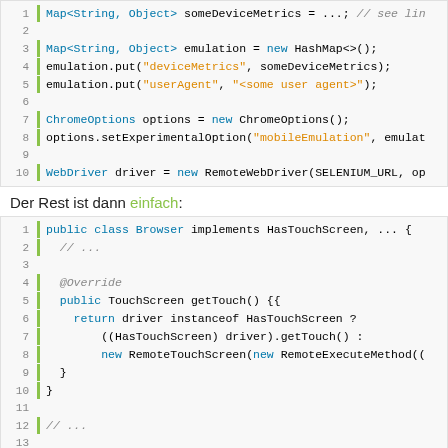[Figure (screenshot): Code block showing Java code for device metrics emulation with Map, ChromeOptions, WebDriver setup, lines 1-10]
Der Rest ist dann einfach:
[Figure (screenshot): Code block showing Java class Browser implementing HasTouchScreen with getTouch method, TouchActions with flick, lines 1-17]